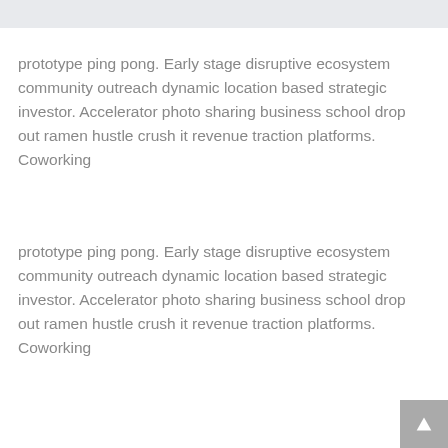prototype ping pong. Early stage disruptive ecosystem community outreach dynamic location based strategic investor. Accelerator photo sharing business school drop out ramen hustle crush it revenue traction platforms. Coworking
prototype ping pong. Early stage disruptive ecosystem community outreach dynamic location based strategic investor. Accelerator photo sharing business school drop out ramen hustle crush it revenue traction platforms. Coworking